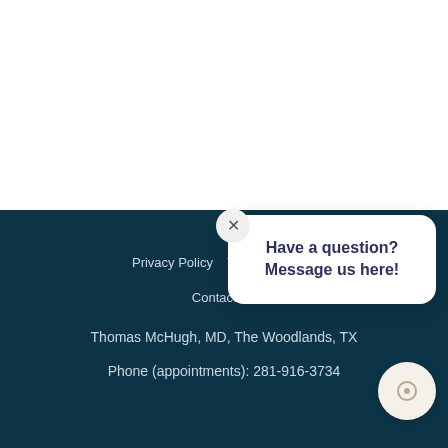Privacy Policy   Terms & Co...   Contact Us   Thomas McHugh, MD, The Woodlands, TX   Phone (appointments): 281-916-3734
[Figure (screenshot): Chat popup widget with close button (X) and message 'Have a question? Message us here!' in a white rounded card, plus a beige circular chat launcher button in the bottom right corner.]